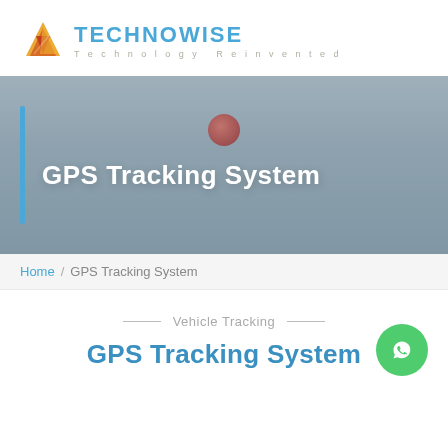[Figure (logo): Technowise logo with triangular icon in orange/red gradient and text 'TECHNOWISE Technology Reinvented' in blue and gray]
[Figure (photo): Hero banner with gray/blue blurred background, blue vertical bar on left, red circular dot near top center, white bold text 'GPS Tracking System']
Home / GPS Tracking System
Vehicle Tracking
GPS Tracking System
[Figure (illustration): Green circular WhatsApp icon button]